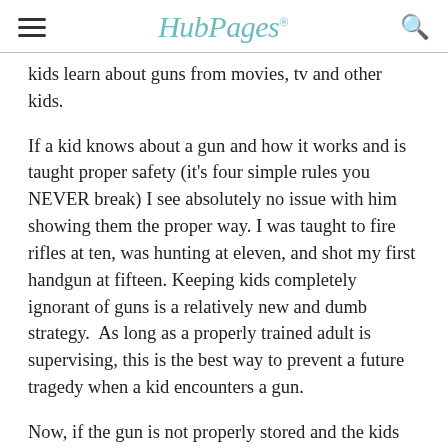HubPages
kids learn about guns from movies, tv and other kids.

If a kid knows about a gun and how it works and is taught proper safety (it's four simple rules you NEVER break) I see absolutely no issue with him showing them the proper way. I was taught to fire rifles at ten, was hunting at eleven, and shot my first handgun at fifteen. Keeping kids completely ignorant of guns is a relatively new and dumb strategy.  As long as a properly trained adult is supervising, this is the best way to prevent a future tragedy when a kid encounters a gun.

Now, if the gun is not properly stored and the kids have access to it, that's a problem that I would have a talk with the adult about.  As for what to tell your kid, the